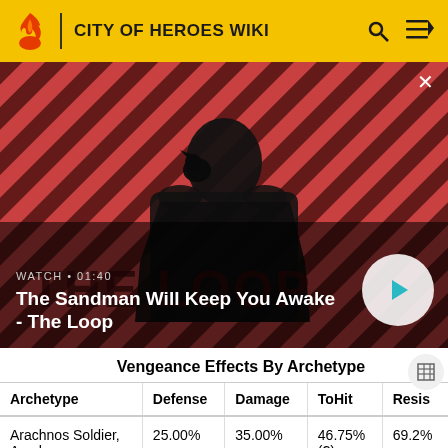CITY OF HEROES WIKI
[Figure (screenshot): Video banner showing a dark-robed figure with a raven on their shoulder against a red striped background. Text overlay: 'WATCH • 01:40' and 'The Sandman Will Keep You Awake - The Loop'. Play button on right.]
Vengeance Effects By Archetype
| Archetype | Defense | Damage | ToHit | Resis |
| --- | --- | --- | --- | --- |
| Arachnos Soldier, Arachnos | 25.00% | 35.00% | 46.75% (?) | 69.2% |